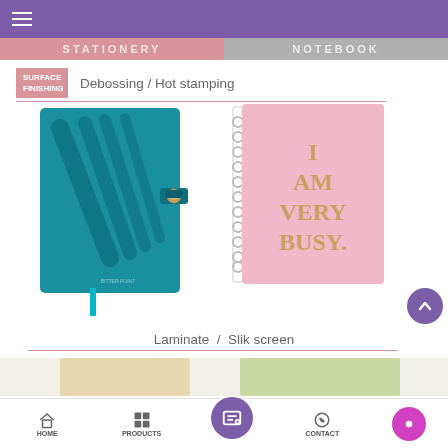Navigation menu bar
STATIONERY | NOTEBOOK
SURFACE FINISHING — Debossing / Hot stamping
[Figure (photo): Teal/blue leather-bound notebook with debossed design and snap button closure, with teal bookmark ribbon]
[Figure (photo): Pink spiral-bound notebook with gold hot-stamped text reading 'I AM VERY BUSY.']
Laminate / Slik screen
HOME | PRODUCTS | (inquiry button) | CONTACT | ABOUT